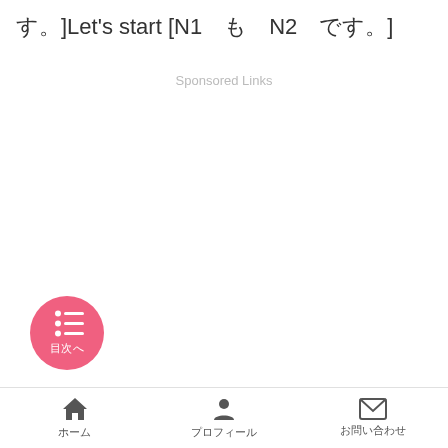す。]Let's start [N1　も　N2　です。]
Sponsored Links
[Figure (other): Pink circular button with list/menu icon and Japanese text '目次へ' (Go to Table of Contents)]
ホーム　プロフィール　お問い合わせ